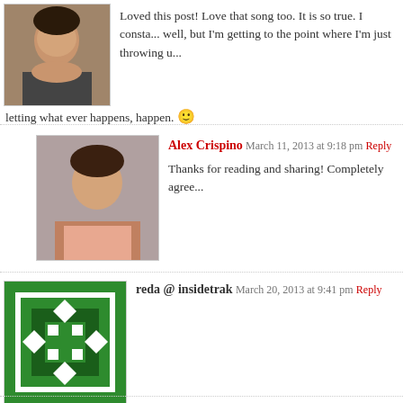Loved this post! Love that song too. It is so true. I constantly... well, but I'm getting to the point where I'm just throwing u... letting what ever happens, happen. 🙂
[Figure (photo): Profile photo of a woman with dark hair]
[Figure (photo): Profile photo of Alex Crispino smiling]
Alex Crispino March 11, 2013 at 9:18 pm Reply
Thanks for reading and sharing! Completely agree...
reda @ insidetrak March 20, 2013 at 9:41 pm Reply
[Figure (logo): Green geometric pattern logo for insidetrak]
Every moment is a choice to either continue what we are... unknown path. And this is the problem! we know what we... risk even if it might be for a better coz it actually might be worse!… ete... that might be worth thinking about! http://www.insidetrak.com.au/blog/n
Leave a Reply
Your email address will not be published. Required fields are marked *